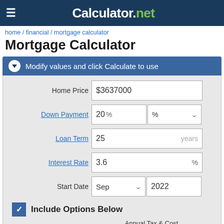Calculator.net
home / financial / mortgage calculator
Mortgage Calculator
Modify values and click Calculate to use
| Field | Value |
| --- | --- |
| Home Price | $3637000 |
| Down Payment | 20 % | % |
| Loan Term | 25 years |
| Interest Rate | 3.6 % |
| Start Date | Sep | 2022 |
Include Options Below
Annual Tax & Cost